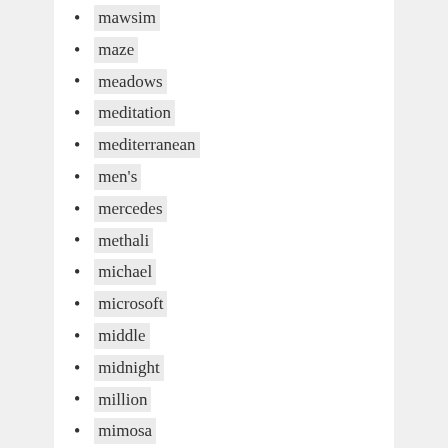mawsim
maze
meadows
meditation
mediterranean
men's
mercedes
methali
michael
microsoft
middle
midnight
million
mimosa
mink
mirage